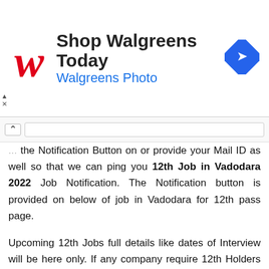[Figure (screenshot): Walgreens advertisement banner with Walgreens red cursive W logo, text 'Shop Walgreens Today' and 'Walgreens Photo' in blue, and a blue diamond navigation icon on the right.]
... the Notification Button on or provide your Mail ID as well so that we can ping you 12th Job in Vadodara 2022 Job Notification. The Notification button is provided on below of job in Vadodara for 12th pass page.
Upcoming 12th Jobs full details like dates of Interview will be here only. If any company require 12th Holders in Vadodara, we will inform all of you here through E Mail.
12th Pass Government Job in Vadodara 2022